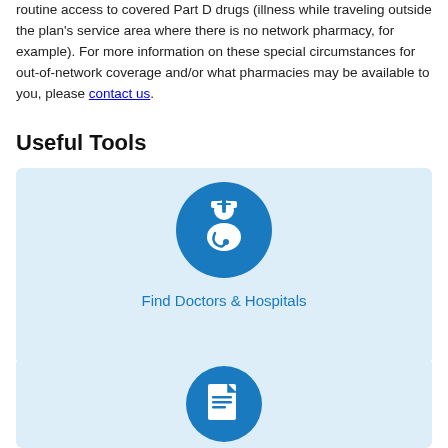routine access to covered Part D drugs (illness while traveling outside the plan's service area where there is no network pharmacy, for example). For more information on these special circumstances for out-of-network coverage and/or what pharmacies may be available to you, please contact us.
Useful Tools
[Figure (illustration): Blue circular icon with white doctor/nurse figure wearing stethoscope and nurse cap, inside a light blue card]
Find Doctors & Hospitals
[Figure (illustration): Blue circular icon with white document/file icon, inside a light blue card, partially visible at bottom of page]